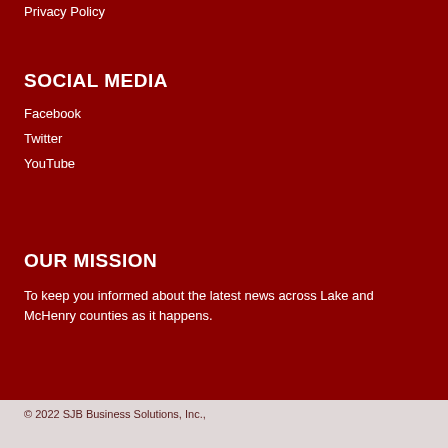Privacy Policy
SOCIAL MEDIA
Facebook
Twitter
YouTube
OUR MISSION
To keep you informed about the latest news across Lake and McHenry counties as it happens.
© 2022 SJB Business Solutions, Inc.,